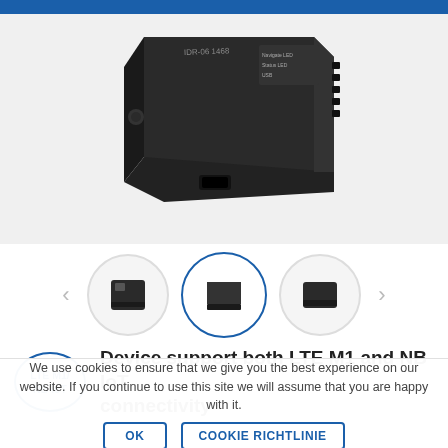[Figure (photo): Close-up photo of a dark grey electronic IoT device (OBD/telematics dongle) showing its top and side surfaces with labels such as 'Navigate LED', 'Status LED', 'USB', and model number. USB port visible on the front face.]
[Figure (photo): Thumbnail carousel showing three small IoT device images in circular frames; the center one is active (highlighted with a blue border), and left/right arrow navigation buttons flank the thumbnails.]
Device support both LTE M1 and NB IoT connectivity
We use cookies to ensure that we give you the best experience on our website. If you continue to use this site we will assume that you are happy with it.
OK   COOKIE RICHTLINIE